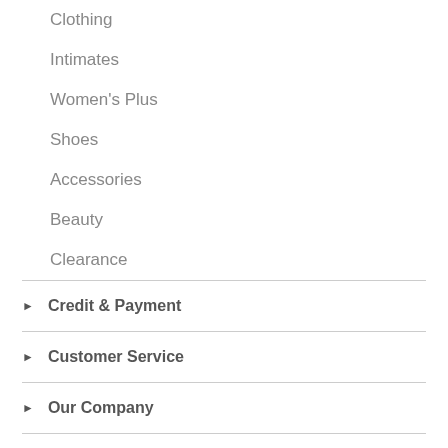Clothing
Intimates
Women's Plus
Shoes
Accessories
Beauty
Clearance
Credit & Payment
Customer Service
Our Company
Stay Connected
[Figure (logo): DigiCert Secured badge and TrustedSite Certified Secure badge]